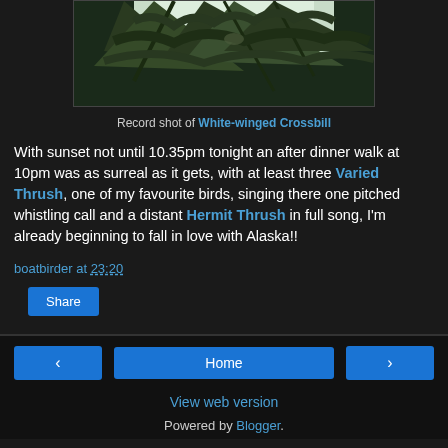[Figure (photo): Record shot photo of a bird (White-winged Crossbill) partially visible among conifer branches, top portion of image, dark background]
Record shot of White-winged Crossbill
With sunset not until 10.35pm tonight an after dinner walk at 10pm was as surreal as it gets, with at least three Varied Thrush, one of my favourite birds, singing there one pitched whistling call and a distant Hermit Thrush in full song, I'm already beginning to fall in love with Alaska!!
boatbirder at 23:20
Share
‹  Home  ›  View web version  Powered by Blogger.